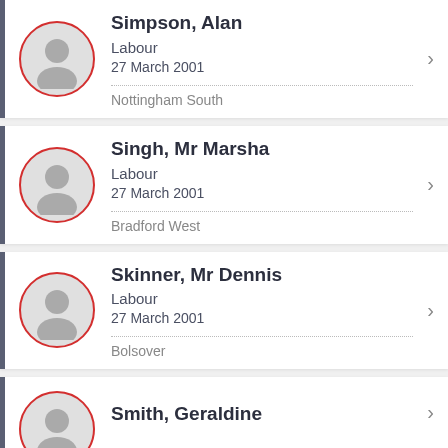Simpson, Alan | Labour | 27 March 2001 | Nottingham South
Singh, Mr Marsha | Labour | 27 March 2001 | Bradford West
Skinner, Mr Dennis | Labour | 27 March 2001 | Bolsover
Smith, Geraldine